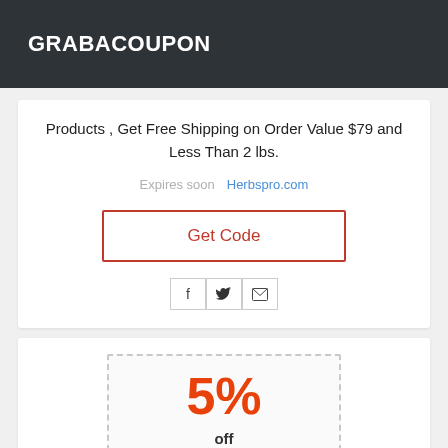GRABACOUPON
Products , Get Free Shipping on Order Value $79 and Less Than 2 lbs.
Expires soon   Herbspro.com
Get Code
[Figure (infographic): Social sharing icons: Facebook (f), Twitter bird, and email envelope]
[Figure (infographic): Coupon box with dashed border showing 5% off discount]
5%
off